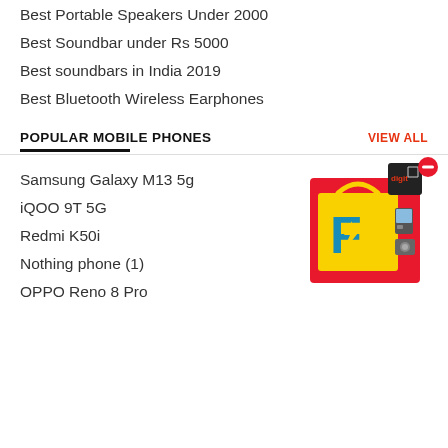Best Portable Speakers Under 2000
Best Soundbar under Rs 5000
Best soundbars in India 2019
Best Bluetooth Wireless Earphones
POPULAR MOBILE PHONES
Samsung Galaxy M13 5g
iQOO 9T 5G
Redmi K50i
Nothing phone (1)
OPPO Reno 8 Pro
[Figure (illustration): Flipkart advertisement box showing yellow shopping bag with Flipkart logo, electronics items, and a small dark cube with red minus button]